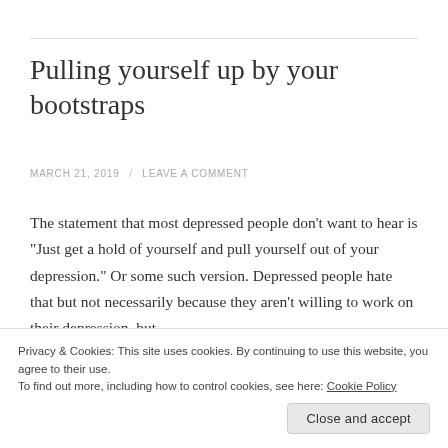Pulling yourself up by your bootstraps
MARCH 21, 2019 / LEAVE A COMMENT
The statement that most depressed people don't want to hear is "Just get a hold of yourself and pull yourself out of your depression." Or some such version. Depressed people hate that but not necessarily because they aren't willing to work on their depression, but
Privacy & Cookies: This site uses cookies. By continuing to use this website, you agree to their use.
To find out more, including how to control cookies, see here: Cookie Policy
Close and accept